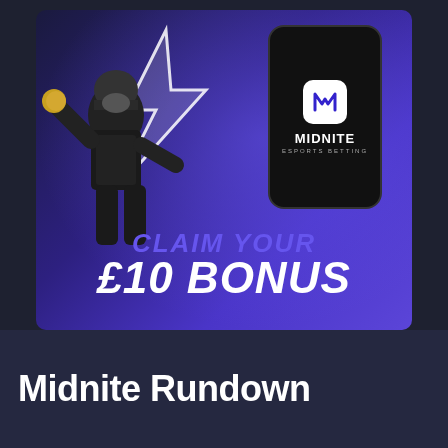[Figure (illustration): Midnite Esports Betting advertisement banner featuring a soldier/gamer character with a thumbs-up pose, lightning effects, a phone mockup showing the Midnite logo, text 'CLAIM YOUR £10 BONUS', a BeGambleAware responsible gambling note, and terms and conditions text.]
Midnite Rundown